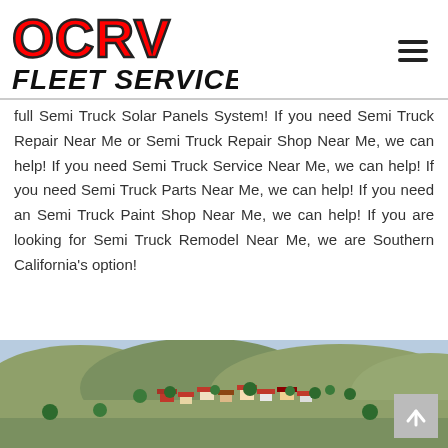OCRV Fleet Services logo and navigation
full Semi Truck Solar Panels System! If you need Semi Truck Repair Near Me or Semi Truck Repair Shop Near Me, we can help! If you need Semi Truck Service Near Me, we can help! If you need Semi Truck Parts Near Me, we can help! If you need an Semi Truck Paint Shop Near Me, we can help! If you are looking for Semi Truck Remodel Near Me, we are Southern California's option!
[Figure (photo): Aerial/hillside view of a residential neighborhood in Southern California with houses and trees on rolling hills]